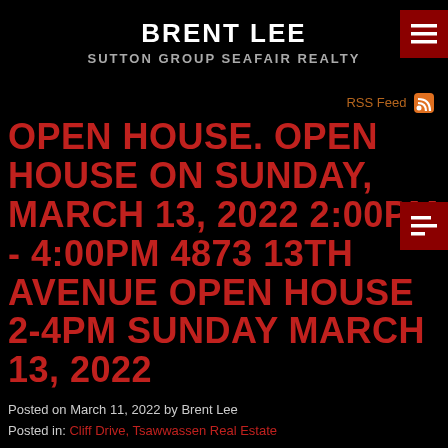BRENT LEE
SUTTON GROUP SEAFAIR REALTY
RSS Feed
OPEN HOUSE. OPEN HOUSE ON SUNDAY, MARCH 13, 2022 2:00PM - 4:00PM 4873 13TH AVENUE OPEN HOUSE 2-4PM SUNDAY MARCH 13, 2022
Posted on March 11, 2022 by Brent Lee
Posted in: Cliff Drive, Tsawwassen Real Estate
Please visit our Open House at 4873 13 AVE in Delta.